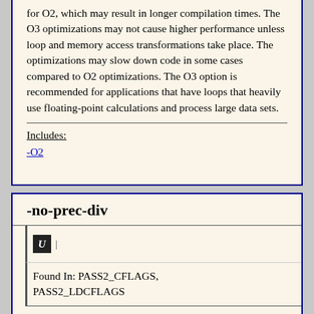for O2, which may result in longer compilation times. The O3 optimizations may not cause higher performance unless loop and memory access transformations take place. The optimizations may slow down code in some cases compared to O2 optimizations. The O3 option is recommended for applications that have loops that heavily use floating-point calculations and process large data sets.
Includes:
-O2
-no-prec-div
U
Found In: PASS2_CFLAGS, PASS2_LDCFLAGS
(disable/enable[default] -prec-div)